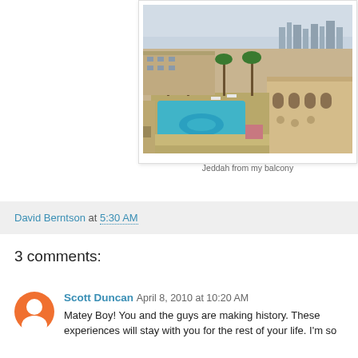[Figure (photo): View of Jeddah city from a hotel balcony, showing a swimming pool complex in the foreground, palm trees, sand-colored buildings, and a city skyline in the background under a hazy sky.]
Jeddah from my balcony
David Berntson at 5:30 AM
3 comments:
Scott Duncan April 8, 2010 at 10:20 AM
Matey Boy! You and the guys are making history. These experiences will stay with you for the rest of your life. I'm so